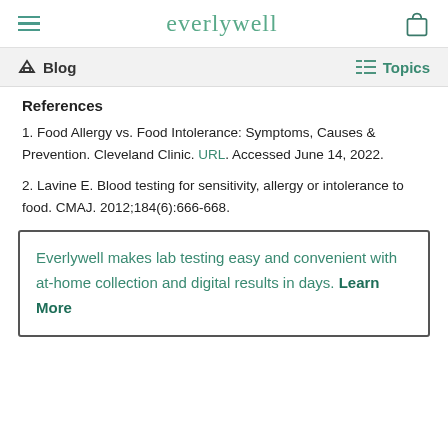everlywell
Blog | Topics
References
1. Food Allergy vs. Food Intolerance: Symptoms, Causes & Prevention. Cleveland Clinic. URL. Accessed June 14, 2022.
2. Lavine E. Blood testing for sensitivity, allergy or intolerance to food. CMAJ. 2012;184(6):666-668.
Everlywell makes lab testing easy and convenient with at-home collection and digital results in days. Learn More